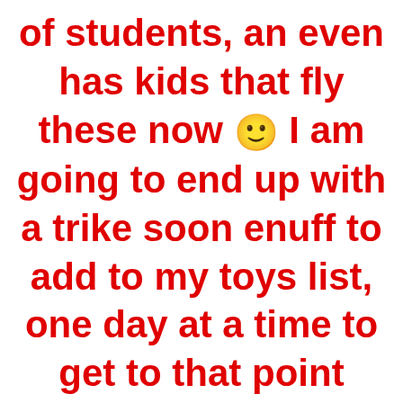of students, an even has kids that fly these now 🙂 I am going to end up with a trike soon enuff to add to my toys list, one day at a time to get to that point though, till then I'll put some Skiis on my trike and